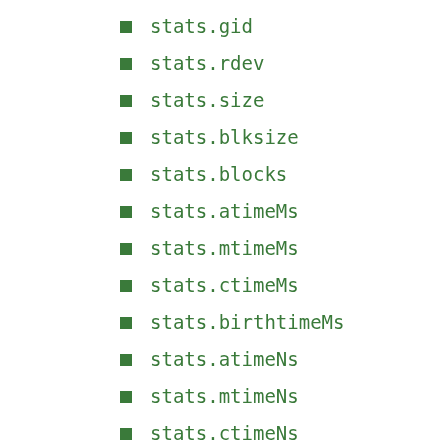stats.gid
stats.rdev
stats.size
stats.blksize
stats.blocks
stats.atimeMs
stats.mtimeMs
stats.ctimeMs
stats.birthtimeMs
stats.atimeNs
stats.mtimeNs
stats.ctimeNs
stats.birthtimeNs